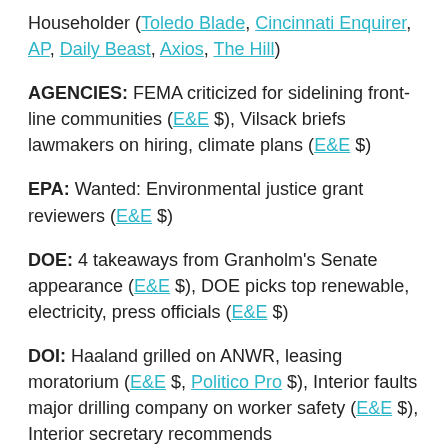Householder (Toledo Blade, Cincinnati Enquirer, AP, Daily Beast, Axios, The Hill)
AGENCIES: FEMA criticized for sidelining front-line communities (E&E $), Vilsack briefs lawmakers on hiring, climate plans (E&E $)
EPA: Wanted: Environmental justice grant reviewers (E&E $)
DOE: 4 takeaways from Granholm's Senate appearance (E&E $), DOE picks top renewable, electricity, press officials (E&E $)
DOI: Haaland grilled on ANWR, leasing moratorium (E&E $, Politico Pro $), Interior faults major drilling company on worker safety (E&E $), Interior secretary recommends